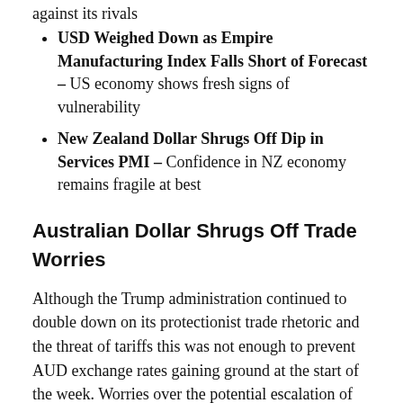USD Weighed Down as Empire Manufacturing Index Falls Short of Forecast – US economy shows fresh signs of vulnerability
New Zealand Dollar Shrugs Off Dip in Services PMI – Confidence in NZ economy remains fragile at best
Australian Dollar Shrugs Off Trade Worries
Although the Trump administration continued to double down on its protectionist trade rhetoric and the threat of tariffs this was not enough to prevent AUD exchange rates gaining ground at the start of the week. Worries over the potential escalation of the US-China trade spat failed to encourage a fresh bout of Australian Dollar selling on Monday. Disappointing US manufacturing data offered a boost to commodity-correlated currencies overnight as demand for the US Dollar weakened once again.
The release of the Reserve Bank of Australia's (RBA) meeting minutes could put pressure on AUD exchange rates this